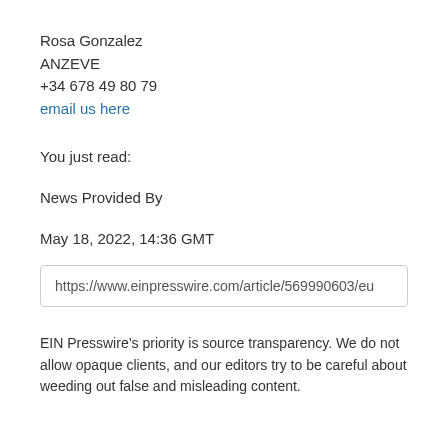Rosa Gonzalez
ANZEVE
+34 678 49 80 79
email us here
You just read:
News Provided By
May 18, 2022, 14:36 GMT
https://www.einpresswire.com/article/569990603/eu
EIN Presswire’s priority is source transparency. We do not allow opaque clients, and our editors try to be careful about weeding out false and misleading content.